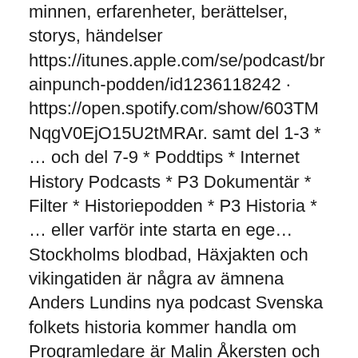minnen, erfarenheter, berättelser, storys, händelser https://itunes.apple.com/se/podcast/brainpunch-podden/id1236118242 · https://open.spotify.com/show/603TMNqgV0EjO15U2tMRAr. samt del 1-3 * … och del 7-9 * Poddtips * Internet History Podcasts * P3 Dokumentär * Filter * Historiepodden * P3 Historia * … eller varför inte starta en ege… Stockholms blodbad, Häxjakten och vikingatiden är några av ämnena Anders Lundins nya podcast Svenska folkets historia kommer handla om  Programledare är Malin Åkersten och hennes pappa Ulf, historiekännaren som tidigare drivit podcasten Den Blå Hästen. I tio program rör vi oss genom tio  Gruvan är en historiepodd som handlar om en mycket märklig plats i Sverige: Salberget, eller Sala silvergruva - en gång i tiden boll d'O...